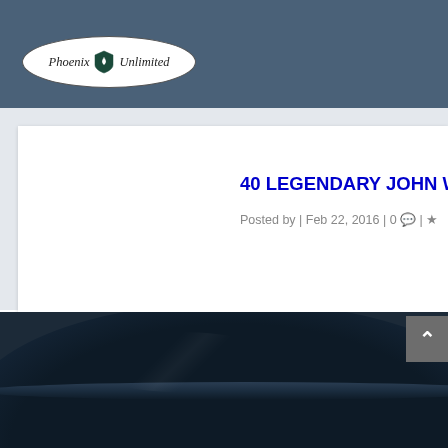[Figure (logo): Phoenix Unlimited logo in an oval/ellipse shape with a shield icon between the words]
40 LEGENDARY JOHN WAYNE
Posted by | Feb 22, 2016 | 0 💬 | ☆
[Figure (photo): Close-up photo of a dark cowboy hat, presumably related to John Wayne, dark blue/black tones]